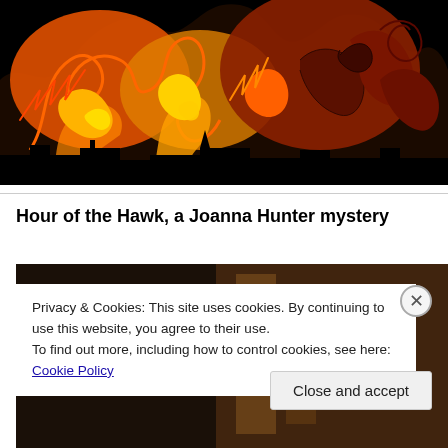[Figure (illustration): Colorful flame/feather illustration with orange, red, yellow and dark brown swirling patterns against a black background]
Hour of the Hawk, a Joanna Hunter mystery
[Figure (photo): Partial view of a book cover or dark interior scene with warm brown tones]
Privacy & Cookies: This site uses cookies. By continuing to use this website, you agree to their use.
To find out more, including how to control cookies, see here: Cookie Policy
Close and accept